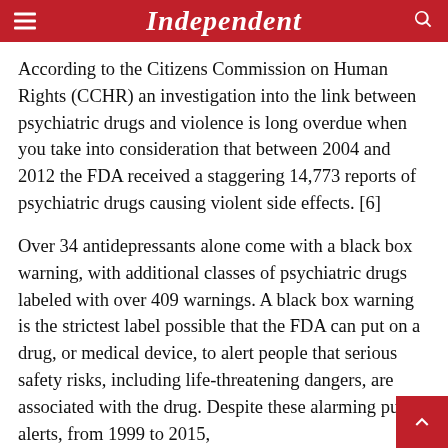Independent
According to the Citizens Commission on Human Rights (CCHR) an investigation into the link between psychiatric drugs and violence is long overdue when you take into consideration that between 2004 and 2012 the FDA received a staggering 14,773 reports of psychiatric drugs causing violent side effects. [6]
Over 34 antidepressants alone come with a black box warning, with additional classes of psychiatric drugs labeled with over 409 warnings. A black box warning is the strictest label possible that the FDA can put on a drug, or medical device, to alert people that serious safety risks, including life-threatening dangers, are associated with the drug. Despite these alarming public alerts, from 1999 to 2015,